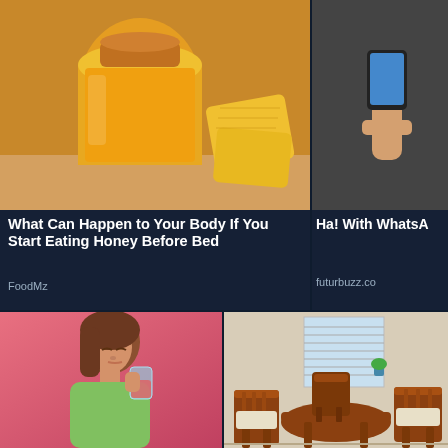[Figure (photo): Glass jar of honey with honeycomb pieces on a wooden surface]
What Can Happen to Your Body If You Start Eating Honey Before Bed
FoodMz
[Figure (photo): Partial image of a person holding something, cropped on the right]
Ha! With WhatsA
futurbuzz.co
[Figure (illustration): Cartoon illustration of a woman drinking from a glass with a pink background]
[Figure (photo): Dining room with wooden chairs and round table near a window]